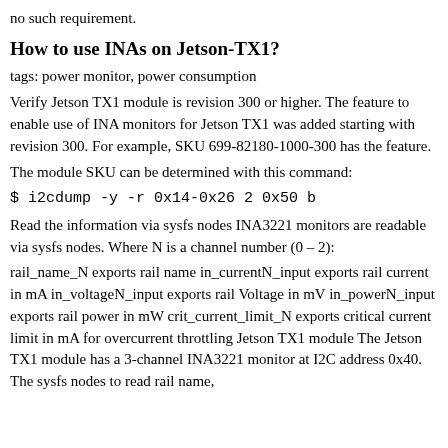no such requirement.
How to use INAs on Jetson-TX1?
tags: power monitor, power consumption
Verify Jetson TX1 module is revision 300 or higher. The feature to enable use of INA monitors for Jetson TX1 was added starting with revision 300. For example, SKU 699-82180-1000-300 has the feature.
The module SKU can be determined with this command:
$ i2cdump -y -r 0x14-0x26 2 0x50 b
Read the information via sysfs nodes INA3221 monitors are readable via sysfs nodes. Where N is a channel number (0 – 2):
rail_name_N exports rail name in_currentN_input exports rail current in mA in_voltageN_input exports rail Voltage in mV in_powerN_input exports rail power in mW crit_current_limit_N exports critical current limit in mA for overcurrent throttling Jetson TX1 module The Jetson TX1 module has a 3-channel INA3221 monitor at I2C address 0x40. The sysfs nodes to read rail name,